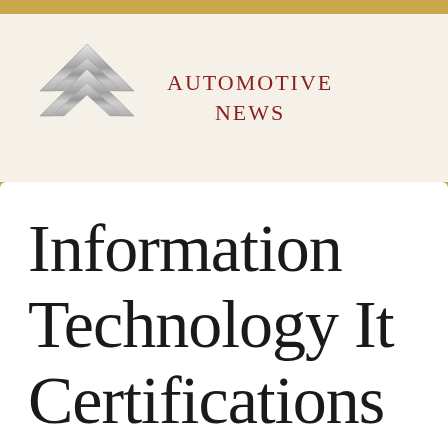[Figure (logo): Citroën double chevron logo in silver/chrome with two overlapping chevron shapes]
AUTOMOTIVE NEWS
Information Technology It Certifications & Training